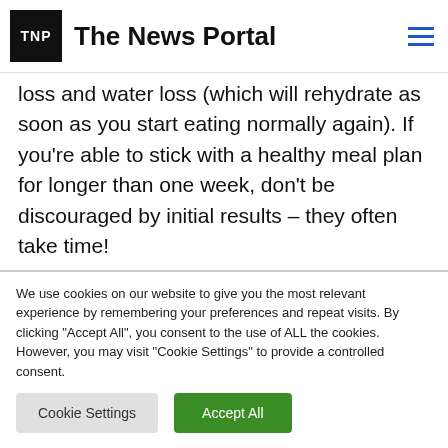TNP The News Portal
loss and water loss (which will rehydrate as soon as you start eating normally again). If you're able to stick with a healthy meal plan for longer than one week, don't be discouraged by initial results – they often take time!
We use cookies on our website to give you the most relevant experience by remembering your preferences and repeat visits. By clicking "Accept All", you consent to the use of ALL the cookies. However, you may visit "Cookie Settings" to provide a controlled consent.